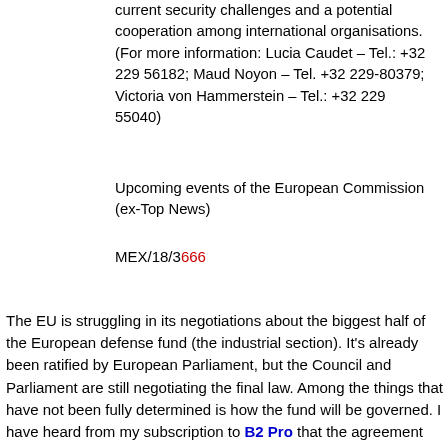current security challenges and a potential cooperation among international organisations. (For more information: Lucia Caudet – Tel.: +32 229 56182; Maud Noyon – Tel. +32 229-80379; Victoria von Hammerstein – Tel.: +32 229 55040)
Upcoming events of the European Commission (ex-Top News)
MEX/18/3666
The EU is struggling in its negotiations about the biggest half of the European defense fund (the industrial section). It's already been ratified by European Parliament, but the Council and Parliament are still negotiating the final law. Among the things that have not been fully determined is how the fund will be governed. I have heard from my subscription to B2 Pro that the agreement could be as early as May 22, when the last trilogue takes place. These are secret meetings, so we will only know what they decided when they are done. Furthermore, the European Council at the end of June expects to welcome the agreement on the industrial